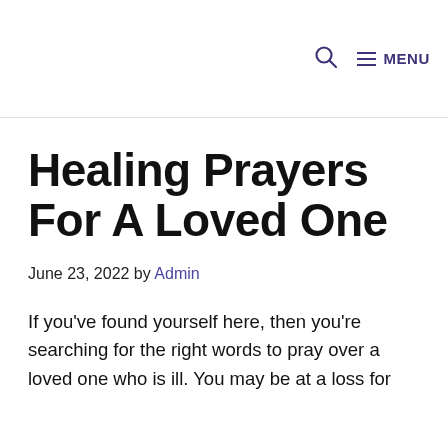🔍 ☰ MENU
Healing Prayers For A Loved One
June 23, 2022 by Admin
If you've found yourself here, then you're searching for the right words to pray over a loved one who is ill. You may be at a loss for